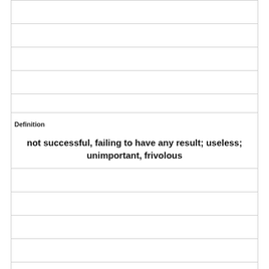|  |  |
|  |  |
|  |  |
|  |  |
|  |  |
| Definition |  |
| not successful, failing to have any result; useless; unimportant, frivolous |  |
|  |  |
|  |  |
|  |  |
|  |  |
|  |  |
|  |  |
|  |  |
| Term |  |
| Grueling |  |